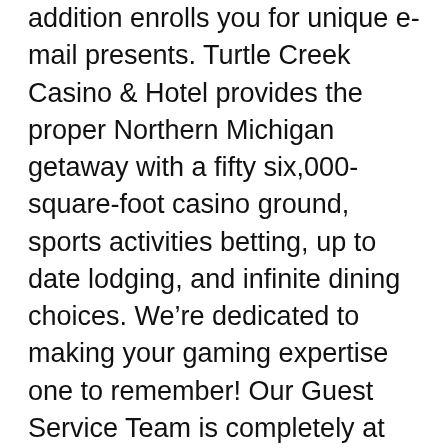addition enrolls you for unique e-mail presents. Turtle Creek Casino & Hotel provides the proper Northern Michigan getaway with a fifty six,000-square-foot casino ground, sports activities betting, up to date lodging, and infinite dining choices. We're dedicated to making your gaming expertise one to remember! Our Guest Service Team is completely at your service 24 hours a day, including holidays.
This thrilling five-star gaming experience is out there solely at Encore Boston Harbor. Play at our successful casino ground at Agua Caliente Rancho Mirage. With 71,000 square feet of the area's finest slots, video gaming and desk video games, it's no surprise it's a player's favorite. Agua Caliente Palm Springs offers 24/7 continuous gaming motion. Come play on our 30,000-square-foot on line casino ground, that includes the hottest slots and desk